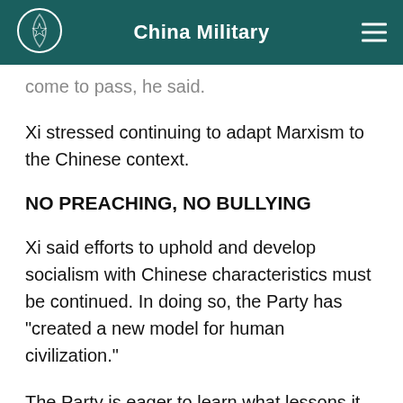China Military
come to pass, he said.
Xi stressed continuing to adapt Marxism to the Chinese context.
NO PREACHING, NO BULLYING
Xi said efforts to uphold and develop socialism with Chinese characteristics must be continued. In doing so, the Party has "created a new model for human civilization."
The Party is eager to learn what lessons it can from the achievements of other cultures, and welcomes helpful suggestions and constructive criticism, Xi said.
"We will not, however, accept sanctimonious preaching